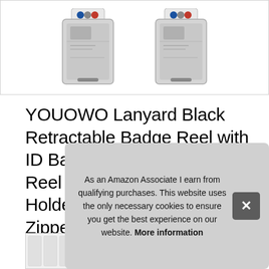[Figure (photo): Two YOUOWO lanyard badge holders with retractable reels displayed side by side on a white background, each showing a card inside a clear plastic vertical holder with a badge reel clip at the top.]
YOUOWO Lanyard Black Retractable Badge Reel with ID Badge Holder with Badge Reel Clip for Card Badges Holders Vertical Punched Zipper Waterproof 2 Pack
#ad
[Figure (photo): Partial bottom strip showing product detail images.]
As an Amazon Associate I earn from qualifying purchases. This website uses the only necessary cookies to ensure you get the best experience on our website. More information